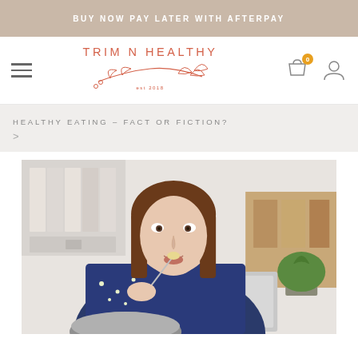BUY NOW PAY LATER WITH AFTERPAY
[Figure (logo): Trim N Healthy logo with decorative botanical branch illustration and 'est 2018' text]
HEALTHY EATING – FACT OR FICTION? >
[Figure (photo): Woman eating food with a fork while working at a laptop in an office setting, wearing a navy floral blouse]